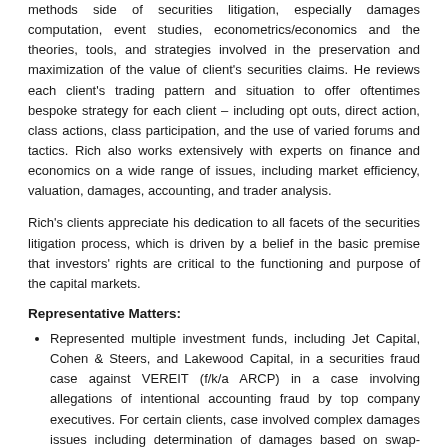methods side of securities litigation, especially damages computation, event studies, econometrics/economics and the theories, tools, and strategies involved in the preservation and maximization of the value of client's securities claims. He reviews each client's trading pattern and situation to offer oftentimes bespoke strategy for each client – including opt outs, direct action, class actions, class participation, and the use of varied forums and tactics. Rich also works extensively with experts on finance and economics on a wide range of issues, including market efficiency, valuation, damages, accounting, and trader analysis.
Rich's clients appreciate his dedication to all facets of the securities litigation process, which is driven by a belief in the basic premise that investors' rights are critical to the functioning and purpose of the capital markets.
Representative Matters:
Represented multiple investment funds, including Jet Capital, Cohen & Steers, and Lakewood Capital, in a securities fraud case against VEREIT (f/k/a ARCP) in a case involving allegations of intentional accounting fraud by top company executives. For certain clients, case involved complex damages issues including determination of damages based on swap-contracts and availability of 'intraday' damages theory. All matters were confidentially settled.
Represented entities related to Fred Alger Management and Valinor Capital Management in direct actions against LendingClub Corporation related to